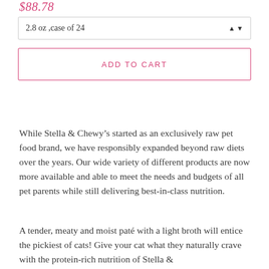$88.78
2.8 oz ,case of 24
ADD TO CART
While Stella & Chewy’s started as an exclusively raw pet food brand, we have responsibly expanded beyond raw diets over the years. Our wide variety of different products are now more available and able to meet the needs and budgets of all pet parents while still delivering best-in-class nutrition.
A tender, meaty and moist paté with a light broth will entice the pickiest of cats! Give your cat what they naturally crave with the protein-rich nutrition of Stella &